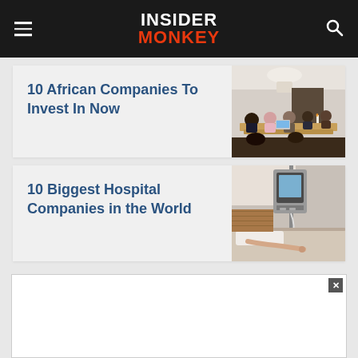INSIDER MONKEY
10 African Companies To Invest In Now
[Figure (photo): Business meeting with people around a table with laptops, under a dome lamp]
10 Biggest Hospital Companies in the World
[Figure (photo): Hospital IV drip machine next to a patient in a hospital bed]